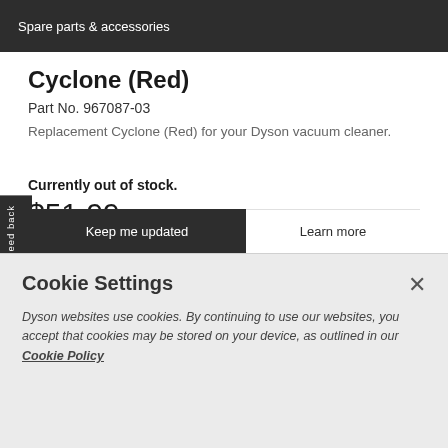Spare parts & accessories
Cyclone (Red)
Part No. 967087-03
Replacement Cyclone (Red) for your Dyson vacuum cleaner.
Currently out of stock.
$51.99
Keep me updated
Learn more
Cookie Settings
Dyson websites use cookies. By continuing to use our websites, you accept that cookies may be stored on your device, as outlined in our Cookie Policy